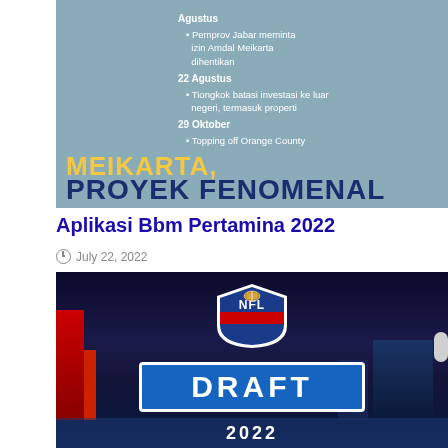[Figure (infographic): Infographic about Meikarta project with dates and bullet points: Agustus - Pemprov Jabar meminta izin Amdal Meikarta dihentikan; 22 Agustus - Tiongkok batasi investasi ke luar negeri, termasuk properti; 29 Oktober - Topping off Orange County. Bottom shows 'MEIKARTA,' and 'PROYEK FENOMENAL' text.]
Aplikasi Bbm Pertamina 2022
July 22, 2022
[Figure (photo): Photo of Las Vegas skyline at night with NFL DRAFT 2022 logo overlaid. Shows city lights, buildings, NFL shield logo and DRAFT banner. Year 2022 partially visible at bottom.]